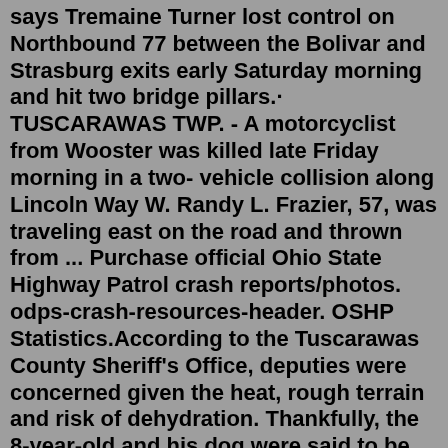says Tremaine Turner lost control on Northbound 77 between the Bolivar and Strasburg exits early Saturday morning and hit two bridge pillars.· TUSCARAWAS TWP. - A motorcyclist from Wooster was killed late Friday morning in a two- vehicle collision along Lincoln Way W. Randy L. Frazier, 57, was traveling east on the road and thrown from ... Purchase official Ohio State Highway Patrol crash reports/photos. odps-crash-resources-header. OSHP Statistics.According to the Tuscarawas County Sheriff's Office, deputies were concerned given the heat, rough terrain and risk of dehydration. Thankfully, the 8-year-old and his dog were said to be okay. Car accident in tuscarawas county. Mary Ann Shotwell - July 25, 2022 Mary Ann Shotwell, 87, of Strasburg, passed away Monday, July 25, 2022, in ...In mathematics. 17 is the seventh prime number.The next prime is 19, with which it forms a twin prime.It is a cousin prime with 13, and a sexy prime with 11 and 23.It is a permutable prime with 71, and a supersingular prime (as is 71, the largest